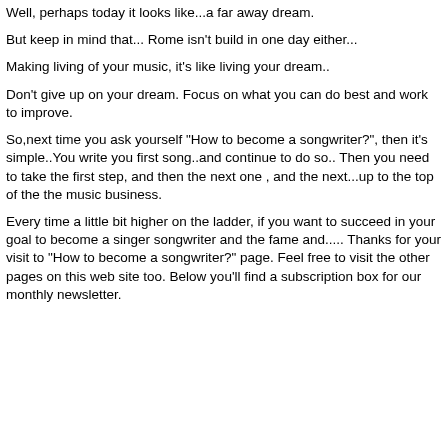Well, perhaps today it looks like...a far away dream.
But keep in mind that... Rome isn't build in one day either...
Making living of your music, it's like living your dream..
Don't give up on your dream. Focus on what you can do best and work to improve.
So,next time you ask yourself "How to become a songwriter?", then it's simple..You write you first song..and continue to do so.. Then you need to take the first step, and then the next one , and the next...up to the top of the the music business.
Every time a little bit higher on the ladder, if you want to succeed in your goal to become a singer songwriter and the fame and..... Thanks for your visit to "How to become a songwriter?" page. Feel free to visit the other pages on this web site too. Below you'll find a subscription box for our monthly newsletter.